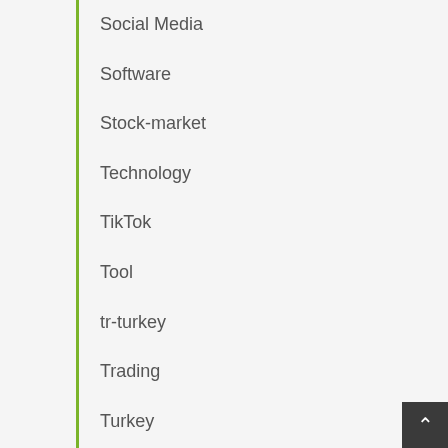Social Media
Software
Stock-market
Technology
TikTok
Tool
tr-turkey
Trading
Turkey
Web Designing
Web Hosting